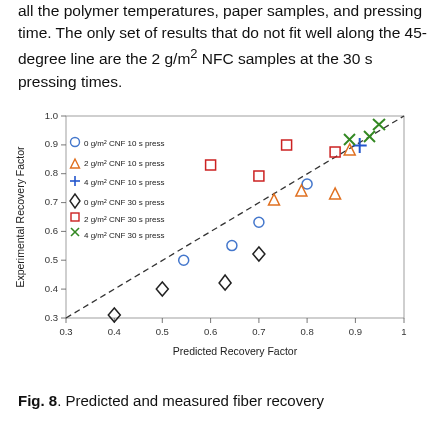all the polymer temperatures, paper samples, and pressing time. The only set of results that do not fit well along the 45-degree line are the 2 g/m² NFC samples at the 30 s pressing times.
[Figure (scatter-plot): Scatter plot of predicted vs experimental recovery factor with six series: 0 g/m² CNF 10s press (blue circles), 2 g/m² CNF 10s press (orange triangles), 4 g/m² CNF 10s press (blue +), 0 g/m² CNF 30s press (black diamonds), 2 g/m² CNF 30s press (red squares), 4 g/m² CNF 30s press (green x). A dashed 45-degree line is shown.]
Fig. 8. Predicted and measured fiber recovery factors for all polymer temperatures, paper samples, and